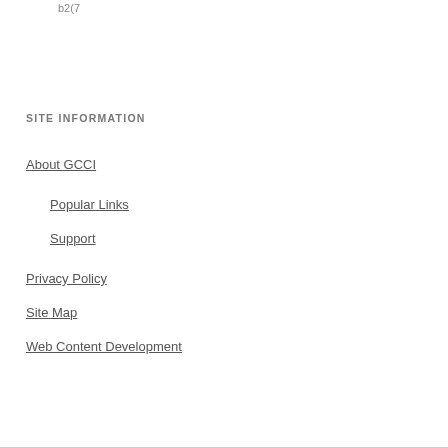b2(7
SITE INFORMATION
About GCCI
Popular Links
Support
Privacy Policy
Site Map
Web Content Development